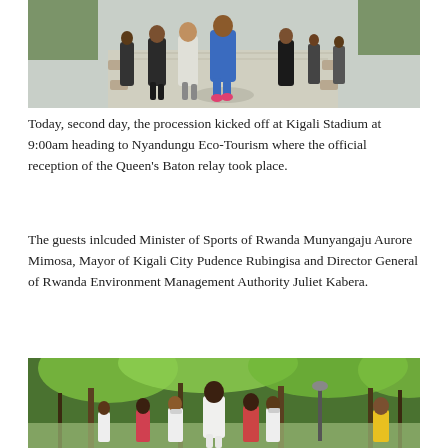[Figure (photo): Group of people walking on a paved pathway outdoors, one person in a bright blue outfit prominent in the center foreground.]
Today, second day, the procession kicked off at Kigali Stadium at 9:00am heading to Nyandungu Eco-Tourism where the official reception of the Queen's Baton relay took place.
The guests inlcuded Minister of Sports of Rwanda Munyangaju Aurore Mimosa, Mayor of Kigali City Pudence Rubingisa and Director General of Rwanda Environment Management Authority Juliet Kabera.
[Figure (photo): Group of people walking along a tree-lined path with lush green foliage, one person in white prominent in the foreground.]